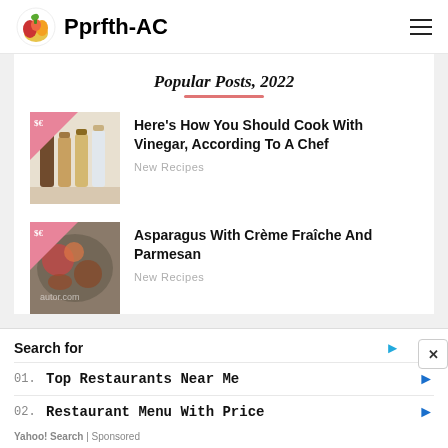Pprfth-AC
Popular Posts, 2022
Here's How You Should Cook With Vinegar, According To A Chef — New Recipes
Asparagus With Crème Fraîche And Parmesan — New Recipes
Search for
01. Top Restaurants Near Me
02. Restaurant Menu With Price
Yahoo! Search | Sponsored